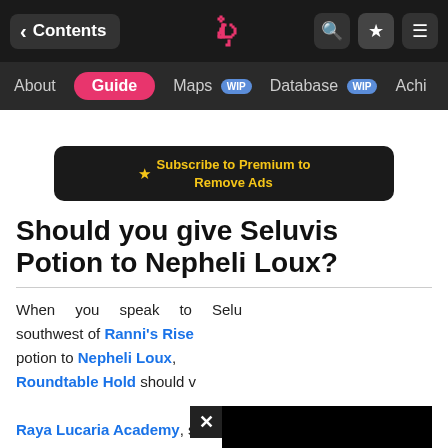Contents | Guide | Maps WIP | Database WIP | Achi...
[Figure (screenshot): Subscribe to Premium to Remove Ads banner button]
Should you give Seluvis Potion to Nepheli Loux?
When you speak to Selu... southwest of Ranni's Rise... potion to Nepheli Loux, Roundtable Hold should... Raya Lucaria Academy, sitting down the stairs from Smithing Master Hewg. You have an important decision